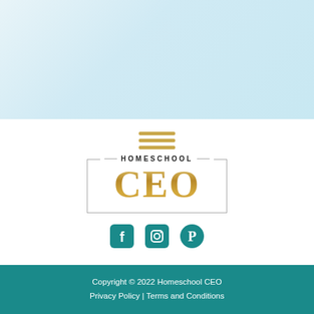[Figure (illustration): Light blue gradient banner at top of page]
[Figure (logo): Homeschool CEO logo with golden CEO lettering inside a rectangular border, with HOMESCHOOL text above and three golden horizontal bars (hamburger icon) above that. Below the logo are three social media icons: Facebook, Instagram, Pinterest in teal color.]
Copyright © 2022 Homeschool CEO
Privacy Policy | Terms and Conditions